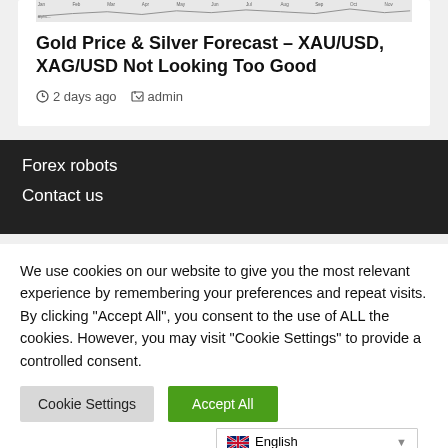[Figure (continuous-plot): Partial view of a financial chart strip at the top of the card, showing axis labels and a line chart]
Gold Price & Silver Forecast – XAU/USD, XAG/USD Not Looking Too Good
2 days ago   admin
Forex robots
Contact us
We use cookies on our website to give you the most relevant experience by remembering your preferences and repeat visits. By clicking "Accept All", you consent to the use of ALL the cookies. However, you may visit "Cookie Settings" to provide a controlled consent.
Cookie Settings   Accept All
English